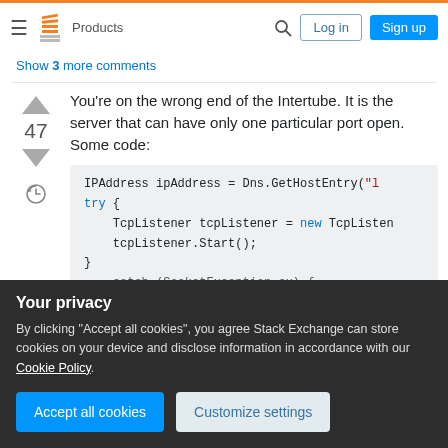≡ [Stack Overflow logo] Products 🔍 Log in Sign up
Show 3 more comments
You're on the wrong end of the Intertube. It is the server that can have only one particular port open. Some code:
[Figure (screenshot): Code block showing C# code: IPAddress ipAddress = Dns.GetHostEntry("l  try {    TcpListener tcpListener = new TcpListen    tcpListener.Start();  }  catch (SocketException ex) {]
Your privacy
By clicking "Accept all cookies", you agree Stack Exchange can store cookies on your device and disclose information in accordance with our Cookie Policy.
[Accept all cookies] [Customize settings]
Only one usage of each socket address